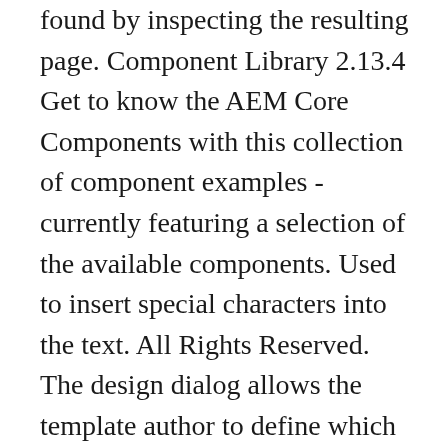found by inspecting the resulting page. Component Library 2.13.4 Get to know the AEM Core Components with this collection of component examples - currently featuring a selection of the available components. Used to insert special characters into the text. All Rights Reserved. The design dialog allows the template author to define which text formatting options are available to the content authors. AEM4BEGINNER blog is for Beginners who are interested in learning Adobe Experience Manager (AEM) aka Adobe CQ5 from basics. Adds a margin below the component. Here, I have posted the information which I know or gathered from different sources. Tap or click the check mark